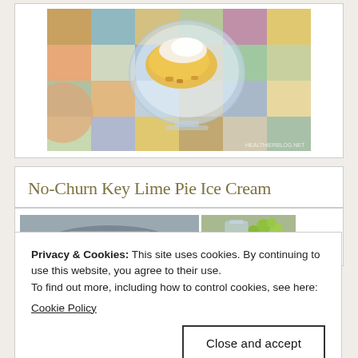[Figure (photo): Overhead photo of a glass dessert bowl with ice cream on a colorful patchwork background]
No-Churn Key Lime Pie Ice Cream
[Figure (photo): Two thumbnail photos side by side: left shows a gray/blue plate with food, right shows green key limes with a glass]
Privacy & Cookies: This site uses cookies. By continuing to use this website, you agree to their use.
To find out more, including how to control cookies, see here:
Cookie Policy
Close and accept